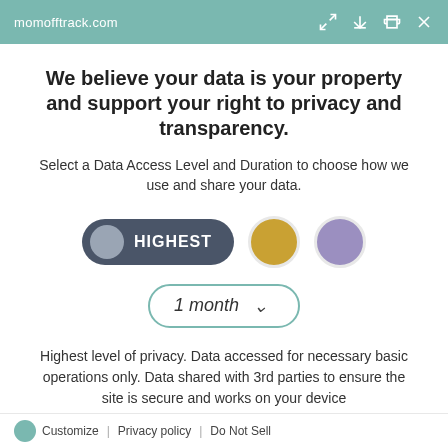momofftrack.com
We believe your data is your property and support your right to privacy and transparency.
Select a Data Access Level and Duration to choose how we use and share your data.
[Figure (infographic): Three data access level options: HIGHEST selected (dark pill with grey circle), gold circle, purple circle]
1 month (dropdown selector)
Highest level of privacy. Data accessed for necessary basic operations only. Data shared with 3rd parties to ensure the site is secure and works on your device
Save my preferences
Customize | Privacy policy | Do Not Sell